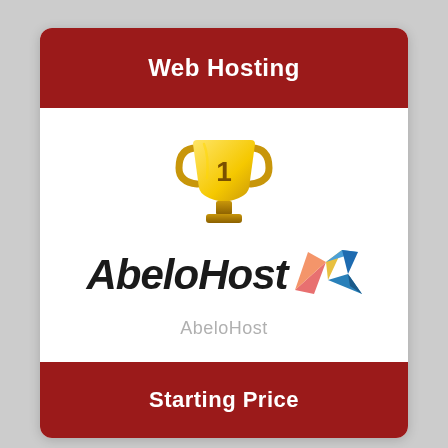Web Hosting
[Figure (logo): Gold trophy cup with number 1 inside it]
[Figure (logo): AbeloHost logo with colorful origami bird/arrow shape in pink, orange, blue, and teal colors next to bold italic text AbeloHost]
AbeloHost
Starting Price